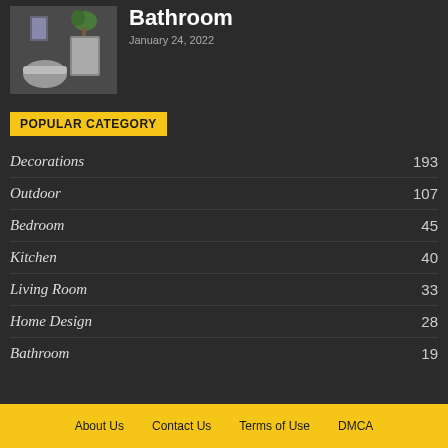[Figure (photo): Thumbnail image of a bathroom]
Bathroom
January 24, 2022
POPULAR CATEGORY
Decorations 193
Outdoor 107
Bedroom 45
Kitchen 40
Living Room 33
Home Design 28
Bathroom 19
About Us   Contact Us   Terms of Use   DMCA